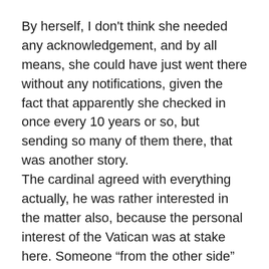By herself, I don't think she needed any acknowledgement, and by all means, she could have just went there without any notifications, given the fact that apparently she checked in once every 10 years or so, but sending so many of them there, that was another story.
The cardinal agreed with everything actually, he was rather interested in the matter also, because the personal interest of the Vatican was at stake here. Someone “from the other side” was hunting vampires, and that shouldn’t happen.
“Well, you know very well, I need higher approval for this. And as a coincidence, this comes in direct contact with my little own problem.” The cardinal said.
“I’m listening…” Regina added. I was listening too, now